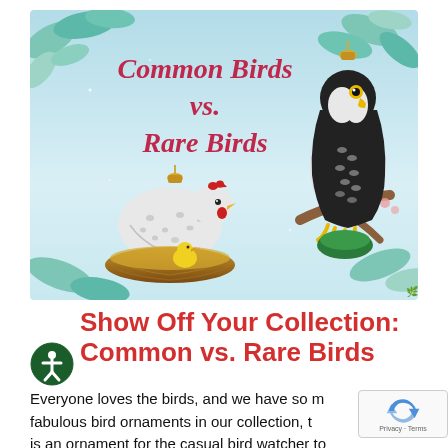[Figure (illustration): Decorative banner image showing two glass bird ornaments on a light blue/teal background with illustrated leaves. Left side shows a hen with chick in a nest ornament. Right side shows a falcon/hawk ornament perched on a branch. Red italic text reads 'Common Birds vs. Rare Birds'.]
Show Off Your Collection: Common vs. Rare Birds
Everyone loves the birds, and we have so many fabulous bird ornaments in our collection, there is an ornament for the casual bird watcher to the avid bird enthusiast. Do you own common...